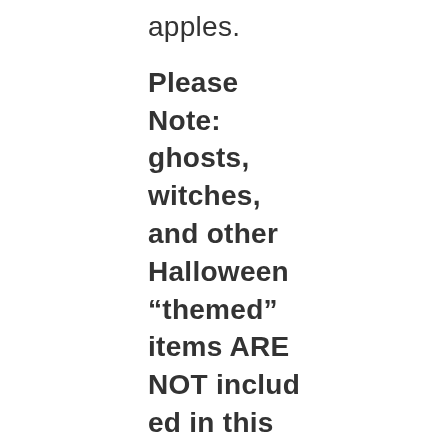apples. Please Note: ghosts, witches, and other Halloween “themed” items ARE NOT included in this packet. You